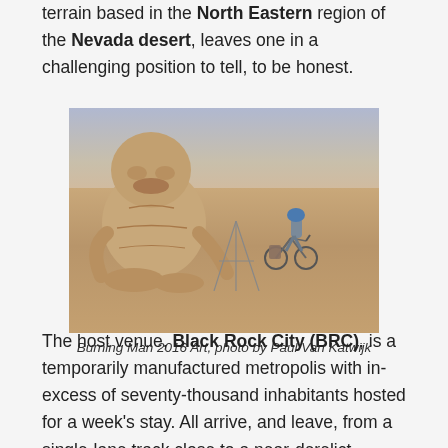terrain based in the North Eastern region of the Nevada desert, leaves one in a challenging position to tell, to be honest.
[Figure (photo): Large gorilla-like sculpture seated in a desert flat with a person on a bicycle for scale, Burning Man 2016]
Burning Man 2016 Art, photo by Paul Van Katwijk
The host venue, Black Rock City (BRC), is a temporarily manufactured metropolis with in-excess of seventy-thousand inhabitants hosted for a week's stay. All arrive, and leave, from a single-lane track close to a near-derelict